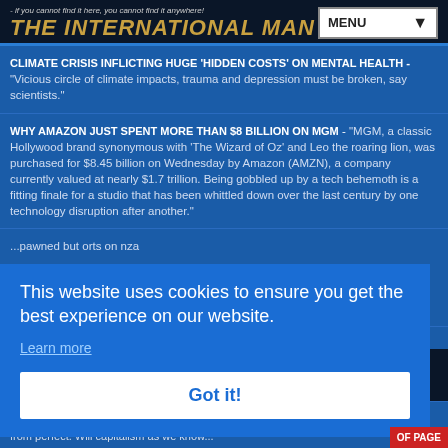- if you cannot find it here, you cannot find it anywhere! THE INTERNATIONAL MAN
CLIMATE CRISIS INFLICTING HUGE 'HIDDEN COSTS' ON MENTAL HEALTH - "Vicious circle of climate impacts, trauma and depression must be broken, say scientists."
WHY AMAZON JUST SPENT MORE THAN $8 BILLION ON MGM - "MGM, a classic Hollywood brand synonymous with 'The Wizard of Oz' and Leo the roaring lion, was purchased for $8.45 billion on Wednesday by Amazon (AMZN), a company currently valued at nearly $1.7 trillion. Being gobbled up by a tech behemoth is a fitting finale for a studio that has been whittled down over the last century by one technology disruption after another."
This website uses cookies to ensure you get the best experience on our website.
Learn more
Got it!
WHY THE NEXT STAGE OF CAPITALISM IS COMING...